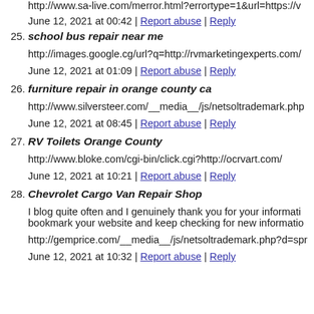http://www.sa-live.com/merror.html?errortype=1&url=https://v
June 12, 2021 at 00:42 | Report abuse | Reply
25. school bus repair near me
http://images.google.cg/url?q=http://rvmarketingexperts.com/
June 12, 2021 at 01:09 | Report abuse | Reply
26. furniture repair in orange county ca
http://www.silversteer.com/__media__/js/netsoltrademark.php
June 12, 2021 at 08:45 | Report abuse | Reply
27. RV Toilets Orange County
http://www.bloke.com/cgi-bin/click.cgi?http://ocrvart.com/
June 12, 2021 at 10:21 | Report abuse | Reply
28. Chevrolet Cargo Van Repair Shop
I blog quite often and I genuinely thank you for your informati bookmark your website and keep checking for new informatio
http://gemprice.com/__media__/js/netsoltrademark.php?d=spr
June 12, 2021 at 10:32 | Report abuse | Reply